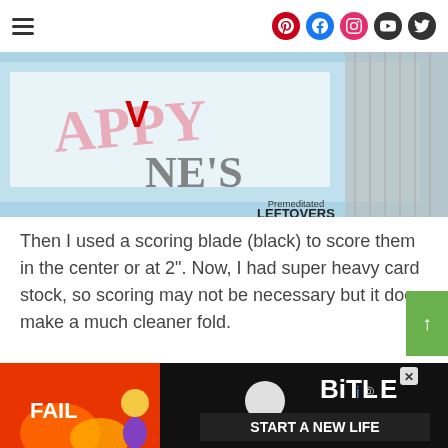Navigation and social icons (Pinterest, Facebook, Instagram, YouTube, Twitter)
[Figure (photo): A photo showing Happy Valentine's Day card stock with 'Premeditated Leftovers' watermark]
Then I used a scoring blade (black) to score them in the center or at 2". Now, I had super heavy card stock, so scoring may not be necessary but it does make a much cleaner fold.
[Figure (photo): Advertisement banner: BitLife - Start a New Life game ad with red background, fire imagery, and a cartoon character]